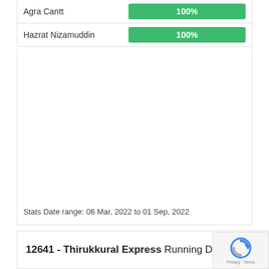[Figure (bar-chart): Station on-time performance]
Stats Date range: 06 Mar, 2022 to 01 Sep, 2022
12641 - Thirukkural Express Running Delay History